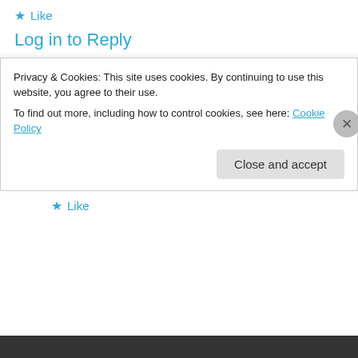★ Like
Log in to Reply
canada post tracking on December 24, 2013 at 7:30 AM
As there are tons of gold buying companies within the market, you are able to visit one of these and have dollars on your gold.
★ Like
Privacy & Cookies: This site uses cookies. By continuing to use this website, you agree to their use.
To find out more, including how to control cookies, see here: Cookie Policy